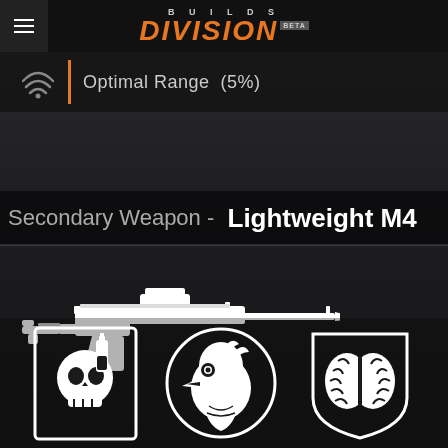DIVISION BUILDS BETA
Optimal Range  (5%)
Secondary Weapon  -  Lightweight M4
[Figure (illustration): White silhouette illustration of an assault rifle (Lightweight M4) on dark background]
[Figure (illustration): Three perk/talent icons: skull with bottle (left), bird/raven head in circle (center), brain in shield (right)]